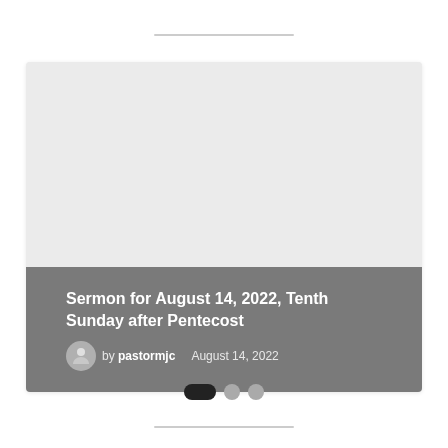[Figure (other): Card with image area and overlay: Sermon for August 14, 2022, Tenth Sunday after Pentecost]
Sermon for August 14, 2022, Tenth Sunday after Pentecost
by pastormjc   August 14, 2022